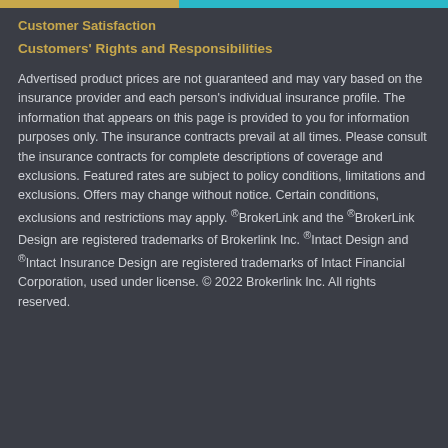Customer Satisfaction
Customers' Rights and Responsibilities
Advertised product prices are not guaranteed and may vary based on the insurance provider and each person's individual insurance profile. The information that appears on this page is provided to you for information purposes only. The insurance contracts prevail at all times. Please consult the insurance contracts for complete descriptions of coverage and exclusions. Featured rates are subject to policy conditions, limitations and exclusions. Offers may change without notice. Certain conditions, exclusions and restrictions may apply. ®BrokerLink and the ®BrokerLink Design are registered trademarks of Brokerlink Inc. ®Intact Design and ®Intact Insurance Design are registered trademarks of Intact Financial Corporation, used under license. © 2022 Brokerlink Inc. All rights reserved.